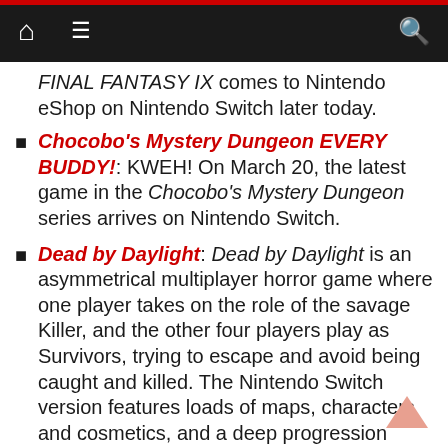Navigation bar with home, menu, and search icons
FINAL FANTASY IX comes to Nintendo eShop on Nintendo Switch later today.
Chocobo's Mystery Dungeon EVERY BUDDY!: KWEH! On March 20, the latest game in the Chocobo's Mystery Dungeon series arrives on Nintendo Switch.
Dead by Daylight: Dead by Daylight is an asymmetrical multiplayer horror game where one player takes on the role of the savage Killer, and the other four players play as Survivors, trying to escape and avoid being caught and killed. The Nintendo Switch version features loads of maps, characters and cosmetics, and a deep progression system to try out. Dead by Daylight creeps onto Nintendo Switch this fall.
Assassin's Creed III Remastered: For the first time on Nintendo Switch, experience Assassin's Creed III with revamped gameplay and features tailored to the